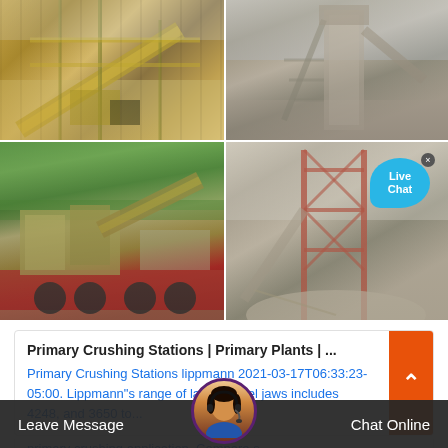[Figure (photo): Four-photo grid of primary crushing stations and plants: top-left shows an overhead conveyor/screening plant with yellow structures, top-right shows a large stationary crushing plant with stairs and conveyors, bottom-left shows a mobile crushing station on a red semi-truck/trailer, bottom-right shows a stationary aggregate crushing/stockpile structure with a 'Live Chat' bubble overlay]
Primary Crushing Stations | Primary Plants | ...
Primary Crushing Stations lippmann 2021-03-17T06:33:23-05:00. Lippmann"s range of large model jaws includes 4248, and 3650 to...
primary crushing application. Compare s...
Leave Message   Chat Online